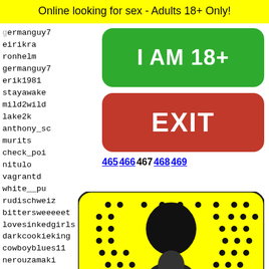Online looking for sex - Adults 18+ Only!
eirikra
ronhelm
germanguy7
erik1981
stayawake
mild2wild
lake2k
anthony_sc
murits
check_poi
nitulo
vagrantd
white__pu
rudischweiz
bittersweeeeet
lovesinkedgirls
darkcookieking
cowboyblues11
nerouzamaki
buryla
dic06
bsic
austin
necrop
attial
[Figure (other): Green rounded button with white text I AM 18+]
[Figure (other): Red rounded button with white text EXIT]
465 466 467 468 469
[Figure (photo): Snapchat ghost logo on yellow background with a person visible below]